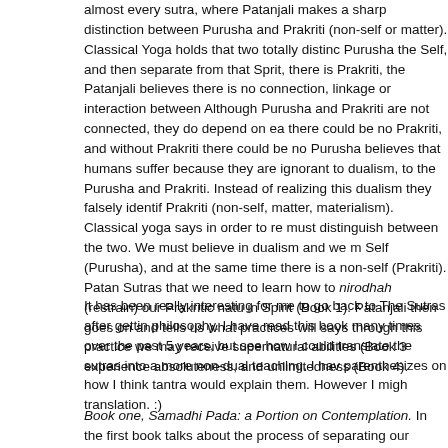almost every sutra, where Patanjali makes a sharp distinction between Purusha and Prakriti (non-self or matter). Classical Yoga holds that two totally distinct realities exist; Purusha the Self, and then separate from that Sprit, there is Prakriti, the non-self. Patanjali believes there is no connection, linkage or interaction between Purusha and Prakriti. Although Purusha and Prakriti are not connected, they do depend on each other. Without Purusha there could be no Prakriti, and without Prakriti there could be no Purusha. Patanjali believes that humans suffer because they are ignorant to dualism, to the separation of Purusha and Prakriti. Instead of realizing this dualism they falsely identify with Prakriti (non-self, matter, materialism). Classical yoga says in order to realize the Self we must distinguish between the two. We must believe in dualism and we must realize there is a Self (Purusha), and at the same time there is a non-self (Prakriti). Patanjali says in the Sutras that we need to learn how to nirodhah (restrain) our Prakritic nature and become absorbed in Spirit (Book 1). Patanjali then goes on and tells us what practices will help us (Book 2), and says through this practice we may receive supernatural abilities (Book 3), and then we can experience absoluteness, and unlimitedness (Book 4).
It has been really interesting for me to go back to The Sutras after getting more into tantra philosophy. I have read this book many times over the past 5 years, but this time I went back to see how I could translate the sutras into a more non-dual teaching. I have added some parenthesizes on how I think tantra would explain them. However I might be off on some of the translation. :)
Book one, Samadhi Pada: a Portion on Contemplation. In the first book Patanjali talks about the process of separating our identity from our thoughts. We are told to absorb our self into the Spirit (Purusha) instead of mis-identifying with o